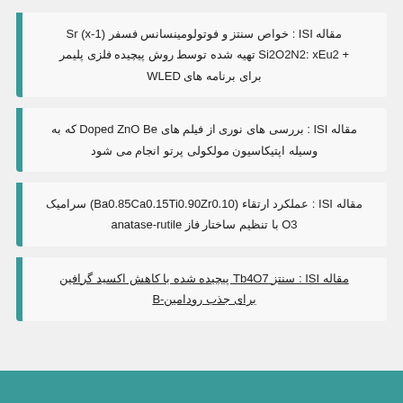مقاله ISI : خواص سنتز و فوتولومینسانس فسفر (1-x) Sr + Si2O2N2: xEu2 تهیه شده توسط روش پیچیده فلزی پلیمر برای برنامه های WLED
مقاله ISI : بررسی های نوری از فیلم های Doped ZnO Be که به وسیله اپتیکاسیون مولکولی پرتو انجام می شود
مقاله ISI : عملکرد ارتقاء (Ba0.85Ca0.15Ti0.90Zr0.10) سرامیک O3 با تنظیم ساختار فاز anatase-rutile
مقاله ISI : سنتز Tb4O7 پیچیده شده با کاهش اکسید گرافین برای جذب رودامین-B